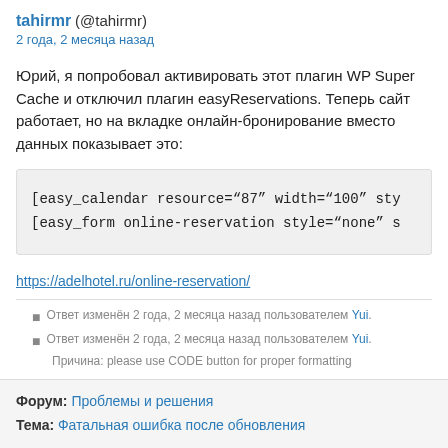tahirmr (@tahirmr)
2 года, 2 месяца назад
Юрий, я попробовал активировать этот плагин WP Super Cache и отключил плагин easyReservations. Теперь сайт работает, но на вкладке онлайн-бронирование вместо данных показывает это:
[easy_calendar resource="87" width="100" sty
[easy_form online-reservation style="none" s
https://adelhotel.ru/online-reservation/
Ответ изменён 2 года, 2 месяца назад пользователем Yui.
Ответ изменён 2 года, 2 месяца назад пользователем Yui.
Причина: please use CODE button for proper formatting
Форум: Проблемы и решения
Тема: Фатальная ошибка после обновления